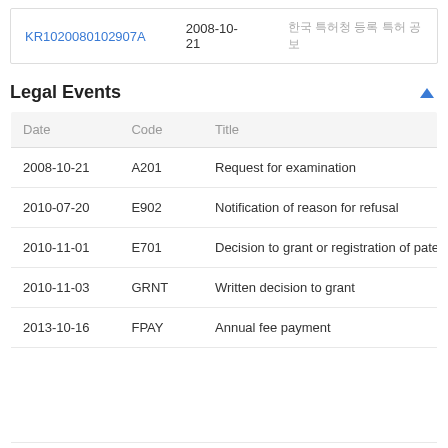| KR1020080102907A | 2008-10-21 | 한국 특허청 등록 특허 공보 |
Legal Events
| Date | Code | Title |
| --- | --- | --- |
| 2008-10-21 | A201 | Request for examination |
| 2010-07-20 | E902 | Notification of reason for refusal |
| 2010-11-01 | E701 | Decision to grant or registration of patent rig |
| 2010-11-03 | GRNT | Written decision to grant |
| 2013-10-16 | FPAY | Annual fee payment |
|  |  |  |
| 2015-10-29 | FPAY | Annual fee payment |